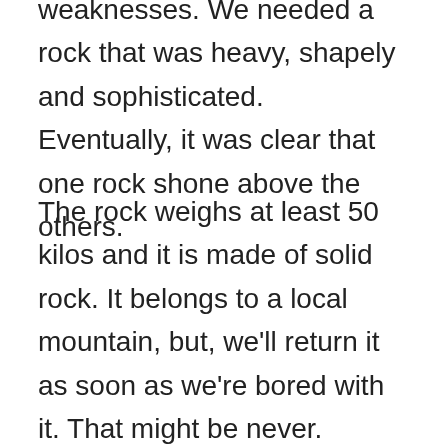weaknesses. We needed a rock that was heavy, shapely and sophisticated. Eventually, it was clear that one rock shone above the others.
The rock weighs at least 50 kilos and it is made of solid rock. It belongs to a local mountain, but, we'll return it as soon as we're bored with it. That might be never.